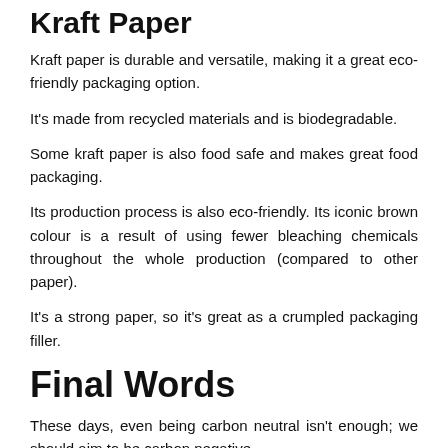Kraft Paper
Kraft paper is durable and versatile, making it a great eco-friendly packaging option.
It’s made from recycled materials and is biodegradable.
Some kraft paper is also food safe and makes great food packaging.
Its production process is also eco-friendly. Its iconic brown colour is a result of using fewer bleaching chemicals throughout the whole production (compared to other paper).
It’s a strong paper, so it’s great as a crumpled packaging filler.
Final Words
These days, even being carbon neutral isn’t enough; we should aim to be carbon negative.
[Figure (photo): Dark green nature/forest background image]